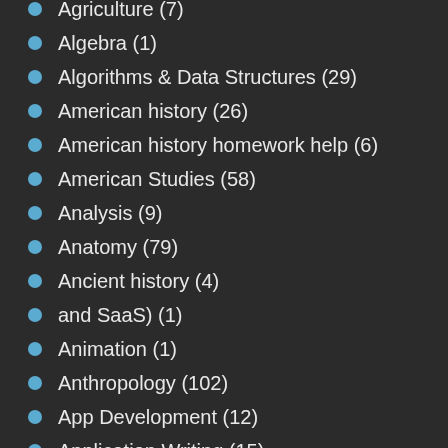Agriculture (7)
Algebra (1)
Algorithms & Data Structures (29)
American history (26)
American history homework help (6)
American Studies (58)
Analysis (9)
Anatomy (79)
Ancient history (4)
and SaaS) (1)
Animation (1)
Anthropology (102)
App Development (12)
Application Writing (15)
Applied Mathematics (18)